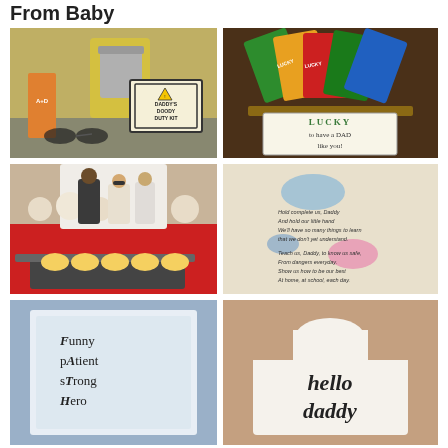From Baby
[Figure (photo): Daddy's Doody Duty Kit — diaper bag supplies with printed sign, A+D ointment, yellow cloth, sunglasses]
[Figure (photo): Lucky to have a DAD like you — scratch lottery tickets in a basket with printed sign]
[Figure (photo): Father's Day party table with cartoon character cutouts and mini pastries on tray]
[Figure (photo): Handwritten/printed poem for daddy with colorful baby footprint and handprint art]
[Figure (photo): Towel or cloth with FATHER acrostic: Funny pAtient sTrong Hero]
[Figure (photo): White onesie with 'hello daddy' written in script lettering]